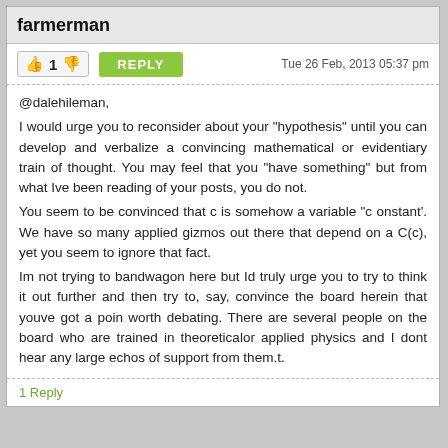farmerman
Tue 26 Feb, 2013 05:37 pm
@dalehileman,
I would urge you to reconsider about your "hypothesis" until you can develop and verbalize a convincing mathematical or evidentiary train of thought. You may feel that you "have something" but from what Ive been reading of your posts, you do not.
You seem to be convinced that c is somehow a variable "c onstant'. We have so many applied gizmos out there that depend on a C(c), yet you seem to ignore that fact.
Im not trying to bandwagon here but Id truly urge you to try to think it out further and then try to, say, convince the board herein that youve got a poin worth debating. There are several people on the board who are trained in theoreticalor applied physics and I dont hear any large echos of support from them.t.
1 Reply